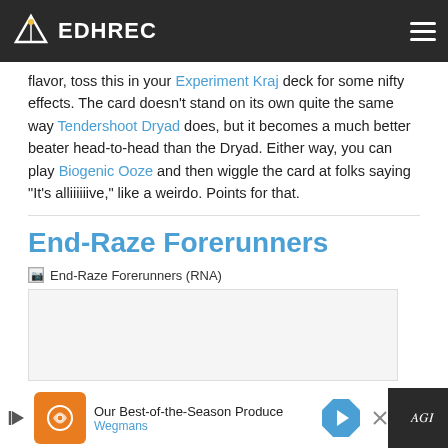EDHREC
flavor, toss this in your Experiment Kraj deck for some nifty effects. The card doesn't stand on its own quite the same way Tendershoot Dryad does, but it becomes a much better beater head-to-head than the Dryad. Either way, you can play Biogenic Ooze and then wiggle the card at folks saying “It’s alliiiiiive,” like a weirdo. Points for that.
End-Raze Forerunners
[Figure (other): Broken image placeholder for End-Raze Forerunners (RNA) card image]
Our Best-of-the-Season Produce Wegmans